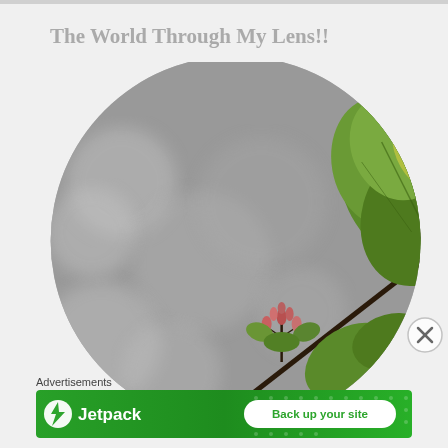The World Through My Lens!!
[Figure (photo): Circular cropped photo of a plant branch with small pink flower buds and green leaves against a blurred grey bokeh background]
[Figure (logo): Close button (X in circle) overlay on right side]
Advertisements
[Figure (screenshot): Jetpack advertisement banner with green background, Jetpack logo on left, and 'Back up your site' white button on right]